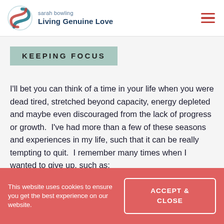sarah bowling Living Genuine Love
KEEPING FOCUS
I'll bet you can think of a time in your life when you were dead tired, stretched beyond capacity, energy depleted and maybe even discouraged from the lack of progress or growth.  I've had more than a few of these seasons and experiences in my life, such that it can be really tempting to quit.  I remember many times when I wanted to give up, such as: trying to get better at playing basketball
This website uses cookies to ensure you get the best experience on our website.
ACCEPT & CLOSE